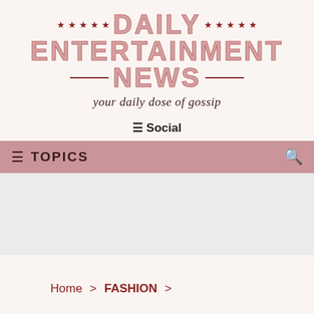DAILY ENTERTAINMENT NEWS — your daily dose of gossip
☰ Social
☰ TOPICS 🔍
[Figure (other): Gray advertisement/banner placeholder area]
Home > FASHION >